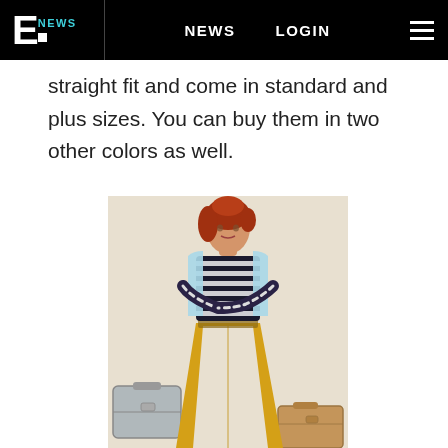E NEWS  NEWS  LOGIN
straight fit and come in standard and plus sizes. You can buy them in two other colors as well.
[Figure (photo): A woman with red hair wearing a striped top, light blue vest/jacket, and yellow flare trousers, standing between vintage suitcases on a cream background.]